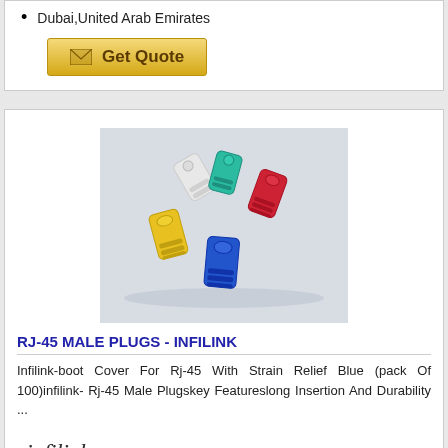Dubai,United Arab Emirates
[Figure (other): Get Quote button with envelope icon, golden/yellow background]
[Figure (photo): Photo of colorful RJ-45 boot covers/strain reliefs in white, teal, red, yellow, and blue colors scattered on a light surface]
RJ-45 MALE PLUGS - INFILINK
Infilink-boot Cover For Rj-45 With Strain Relief Blue (pack Of 100)infilink- Rj-45 Male Plugskey Featureslong Insertion And Durability ...
[Figure (logo): Infilink Technologies logo in italic script font with ellipse underline]